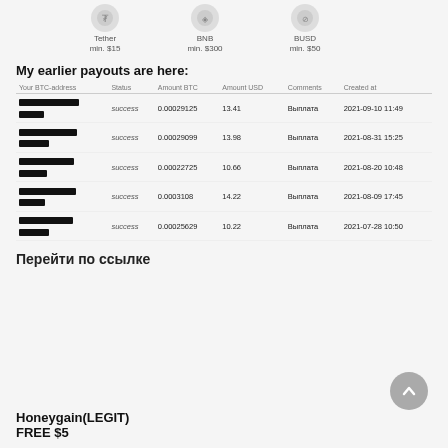[Figure (illustration): Three cryptocurrency icons: Tether (min. $15), BNB (min. $300), BUSD (min. $50)]
My earlier payouts are here:
| Your BTC-address | Status | Amount BTC | Amount USD | Comments | Created at |
| --- | --- | --- | --- | --- | --- |
| 1B[redacted] | success | 0.00029125 | 13.41 | Выплата | 2021-09-10 11:49 |
| 1B[redacted] | success | 0.00029099 | 13.98 | Выплата | 2021-08-31 15:25 |
| 1B[redacted] | success | 0.00022725 | 10.66 | Выплата | 2021-08-20 10:48 |
| 1B[redacted] | success | 0.0003108 | 14.22 | Выплата | 2021-08-09 17:45 |
| 1B[redacted] | success | 0.00025629 | 10.22 | Выплата | 2021-07-28 10:50 |
Перейти по ссылке
[Figure (illustration): Back/up arrow button (circular grey button)]
Honeygain(LEGIT)
FREE $5